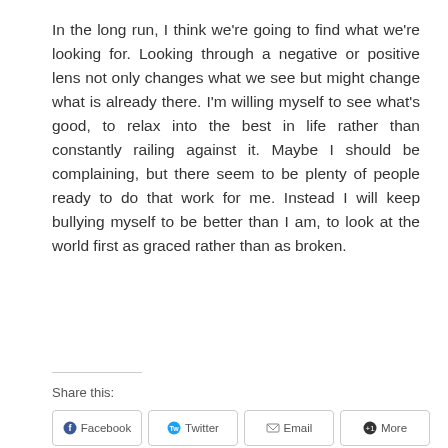In the long run, I think we're going to find what we're looking for. Looking through a negative or positive lens not only changes what we see but might change what is already there. I'm willing myself to see what's good, to relax into the best in life rather than constantly railing against it. Maybe I should be complaining, but there seem to be plenty of people ready to do that work for me. Instead I will keep bullying myself to be better than I am, to look at the world first as graced rather than as broken.
Share this: